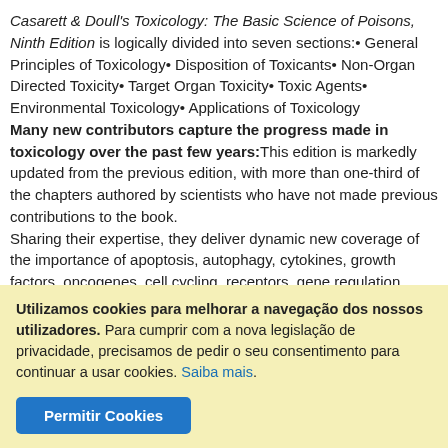Casarett & Doull's Toxicology: The Basic Science of Poisons, Ninth Edition is logically divided into seven sections:• General Principles of Toxicology• Disposition of Toxicants• Non-Organ Directed Toxicity• Target Organ Toxicity• Toxic Agents• Environmental Toxicology• Applications of Toxicology Many new contributors capture the progress made in toxicology over the past few years: This edition is markedly updated from the previous edition, with more than one-third of the chapters authored by scientists who have not made previous contributions to the book. Sharing their expertise, they deliver dynamic new coverage of the importance of apoptosis, autophagy, cytokines, growth factors, oncogenes, cell cycling, receptors, gene regulation, protective mechanisms, repair mechanisms, transcription factors, signaling pathways, transgenic mice, knock-out mice, humanized mice, polymorphisms, microarray technology.
Utilizamos cookies para melhorar a navegação dos nossos utilizadores. Para cumprir com a nova legislação de privacidade, precisamos de pedir o seu consentimento para continuar a usar cookies. Saiba mais.